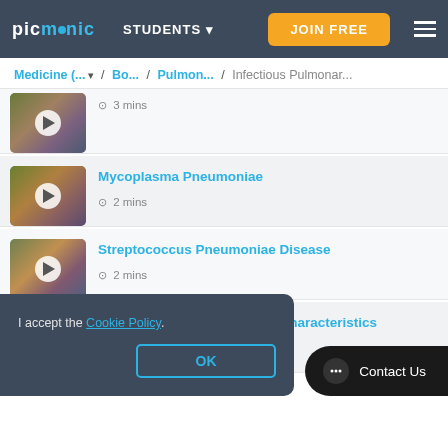picmonic STUDENTS JOIN FREE
Medicine (... / Bo... / Pulmon... / Infectious Pulmonar...
[Figure (screenshot): Partial video thumbnail with play button]
3 mins
[Figure (screenshot): Mycoplasma Pneumoniae video thumbnail with play button]
Mycoplasma Pneumoniae
2 mins
[Figure (screenshot): Streptococcus Pneumoniae Disease video thumbnail with play button]
Streptococcus Pneumoniae Disease
2 mins
[Figure (screenshot): Streptococcus Pneumoniae Characteristics video thumbnail with play button]
Streptococcus Pneumoniae Characteristics
I accept the Cookie Policy.
OK
Contact Us